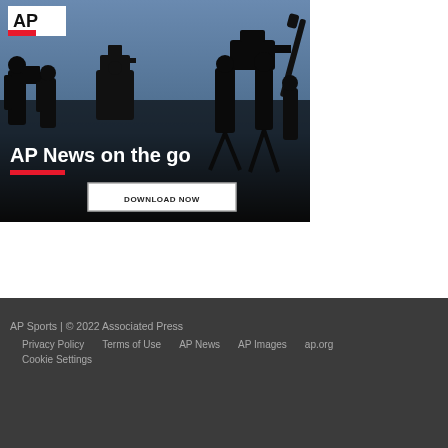[Figure (photo): AP News promotional banner showing silhouettes of camera operators and journalists against a sky background, with AP logo, 'AP News on the go' headline in white text, a red underline bar, and a 'DOWNLOAD NOW' button]
AP Sports | © 2022 Associated Press
Privacy Policy   Terms of Use   AP News   AP Images   ap.org
Cookie Settings